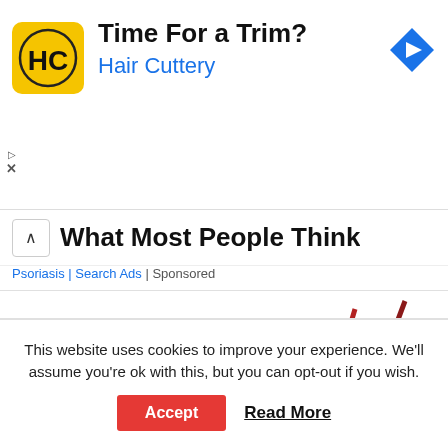[Figure (screenshot): Hair Cuttery advertisement banner with HC logo, title 'Time For a Trim?', brand name 'Hair Cuttery', and a blue navigation diamond icon on the right.]
What Most People Think
Psoriasis | Search Ads | Sponsored
[Figure (illustration): Illustration of a person lying in bed wearing blue pajamas, appearing to be in pain with lightning bolt symbols near their foot/ankle area.]
This website uses cookies to improve your experience. We'll assume you're ok with this, but you can opt-out if you wish.
Accept   Read More